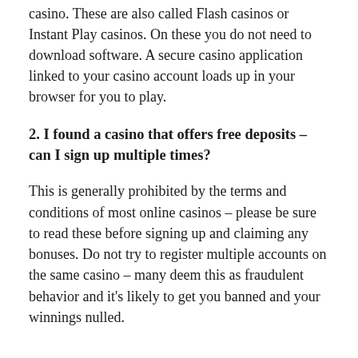casino. These are also called Flash casinos or Instant Play casinos. On these you do not need to download software. A secure casino application linked to your casino account loads up in your browser for you to play.
2. I found a casino that offers free deposits – can I sign up multiple times?
This is generally prohibited by the terms and conditions of most online casinos – please be sure to read these before signing up and claiming any bonuses. Do not try to register multiple accounts on the same casino – many deem this as fraudulent behavior and it's likely to get you banned and your winnings nulled.